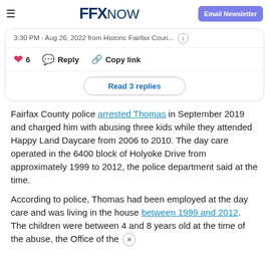FFX NOW  Email Newsletter
[Figure (screenshot): Tweet card showing: 3:30 PM · Aug 26, 2022 from Historic Fairfax Coun... with heart (6), Reply, Copy link actions and Read 3 replies button]
Fairfax County police arrested Thomas in September 2019 and charged him with abusing three kids while they attended Happy Land Daycare from 2006 to 2010. The day care operated in the 6400 block of Holyoke Drive from approximately 1999 to 2012, the police department said at the time.
According to police, Thomas had been employed at the day care and was living in the house between 1999 and 2012. The children were between 4 and 8 years old at the time of the abuse, the Office of the